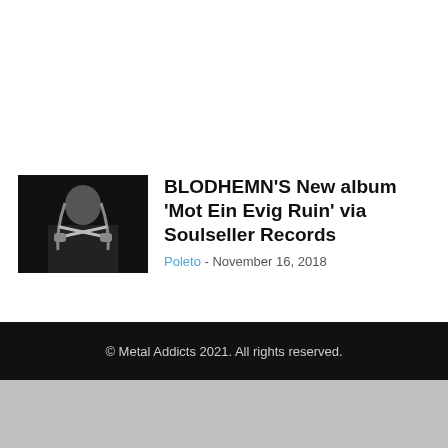[Figure (photo): Black and white photo of a long-haired person holding drumsticks in a crossed pose against a dark background]
BLODHEMN'S New album 'Mot Ein Evig Ruin' via Soulseller Records
Poleto - November 16, 2018
© Metal Addicts 2021. All rights reserved.